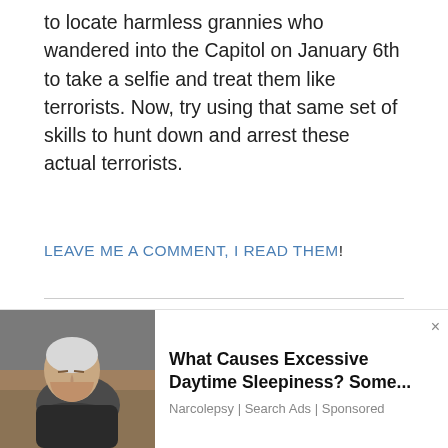to locate harmless grannies who wandered into the Capitol on January 6th to take a selfie and treat them like terrorists. Now, try using that same set of skills to hunt down and arrest these actual terrorists.
LEAVE ME A COMMENT, I READ THEM!
Curious: Does Jan. 6 committee WANT to stop
[Figure (photo): Advertisement overlay showing an elderly man sleeping in a chair, with ad text 'What Causes Excessive Daytime Sleepiness? Some...' sourced from Narcolepsy | Search Ads | Sponsored, with a close button (x)]